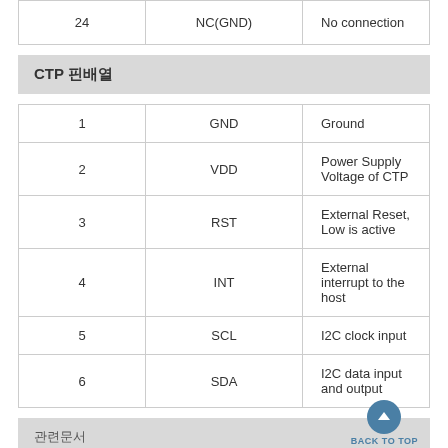| Pin | Signal | Description |
| --- | --- | --- |
| 24 | NC(GND) | No connection |
CTP 핀배열
| Pin | Signal | Description |
| --- | --- | --- |
| 1 | GND | Ground |
| 2 | VDD | Power Supply Voltage of CTP |
| 3 | RST | External Reset, Low is active |
| 4 | INT | External interrupt to the host |
| 5 | SCL | I2C clock input |
| 6 | SDA | I2C data input and output |
관련문서 BACK TO TOP
|  |